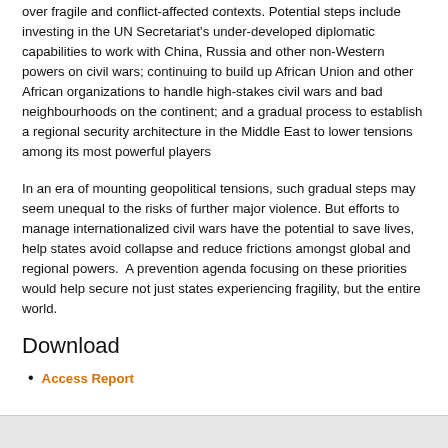over fragile and conflict-affected contexts. Potential steps include investing in the UN Secretariat's under-developed diplomatic capabilities to work with China, Russia and other non-Western powers on civil wars; continuing to build up African Union and other African organizations to handle high-stakes civil wars and bad neighbourhoods on the continent; and a gradual process to establish a regional security architecture in the Middle East to lower tensions among its most powerful players
In an era of mounting geopolitical tensions, such gradual steps may seem unequal to the risks of further major violence. But efforts to manage internationalized civil wars have the potential to save lives, help states avoid collapse and reduce frictions amongst global and regional powers.  A prevention agenda focusing on these priorities would help secure not just states experiencing fragility, but the entire world.
Download
Access Report